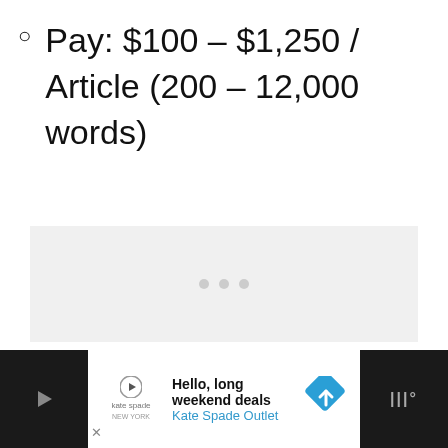Pay: $100 – $1,250 / Article (200 – 12,000 words)
[Figure (other): Light gray placeholder image box with three small gray dots centered, indicating a loading or empty image area]
[Figure (other): Dark advertisement banner at the bottom showing Kate Spade Outlet ad with text 'Hello, long weekend deals' and 'Kate Spade Outlet', with a blue diamond navigation icon on the right and WM logo on far right]